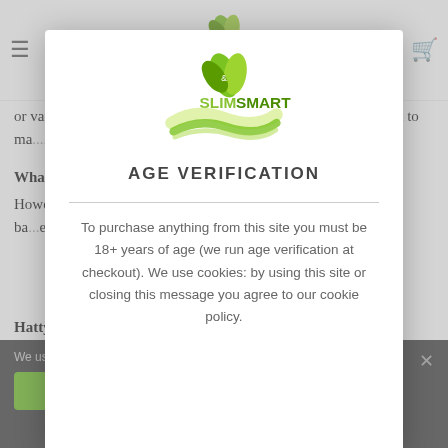[Figure (logo): SlimSmart logo in navigation bar at top of page]
into the consistency ... (partially visible). ie is poured on the ... nt for 24–4... stirred occasionally. b ... l into wooden casks or vats where fermentation is completed and the aszú wine is left to ma... ment, and are r... ocess continue...
What do...
However... defined by the nu... cask (136 lite... classific... ber is ba... ence on ... mature... hat you ... onyos. We coll...
Hattyus...
[Figure (logo): SlimSmart logo in modal dialog — green leaf icon with SLIM SMART text and green wave graphic]
AGE VERIFICATION
To purchase anything from this site you must be 18+ years of age (we run age verification at checkout). We use cookies: by using this site or closing this message you agree to our cookie policy.
We use... our web... that you
O... Y